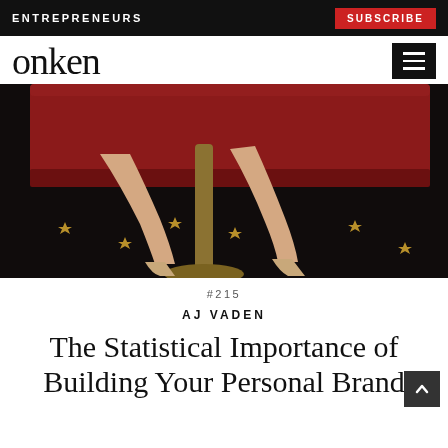ENTREPRENEURS | SUBSCRIBE
onken
[Figure (photo): A woman's legs in strappy heels seated on a red velvet sofa, with a brass pedestal table on a dark carpet with gold stars.]
#215
AJ VADEN
The Statistical Importance of Building Your Personal Brand